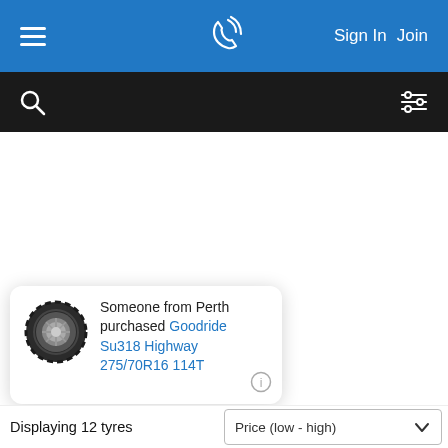[Figure (screenshot): Blue navigation bar with hamburger menu icon on left, phone/call icon in center, and 'Sign In' and 'Join' text links on right]
[Figure (screenshot): Black search bar with magnifying glass icon on left and filter/sliders icon on right]
[Figure (screenshot): White content area with a popup notification card showing a tire image and text: 'Someone from Perth purchased Goodride Su318 Highway 275/70R16 114T' with an info icon in bottom right of the card]
Someone from Perth purchased Goodride Su318 Highway 275/70R16 114T
Displaying 12 tyres
Price (low - high)